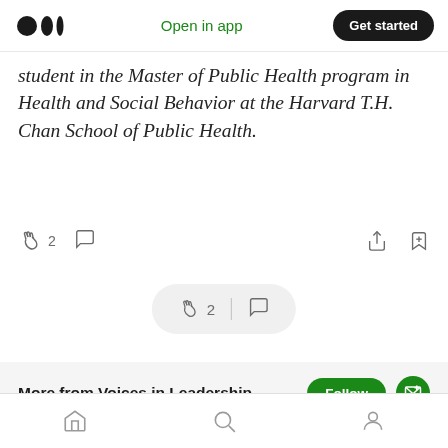Medium logo | Open in app | Get started
student in the Master of Public Health program in Health and Social Behavior at the Harvard T.H. Chan School of Public Health.
[Figure (screenshot): Reaction bar with clap icon showing 2 claps and a comment icon, plus share and bookmark icons on the right]
[Figure (screenshot): Floating pill-shaped reaction bar with clap icon showing 2 and a chat bubble icon separated by a vertical divider]
More from Voices in Leadership
Voices in Leadership webcast series enhances leadership